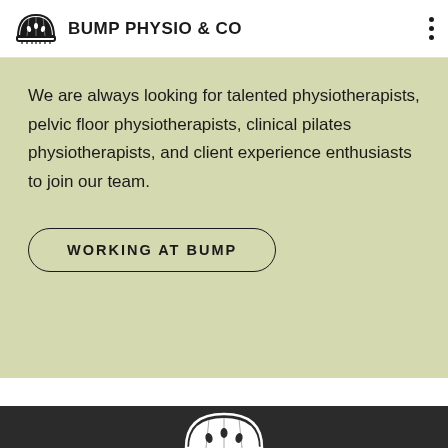BUMP PHYSIO & CO
We are always looking for talented physiotherapists, pelvic floor physiotherapists, clinical pilates physiotherapists, and client experience enthusiasts to join our team.
WORKING AT BUMP
[Figure (logo): Bump Physio & Co watermelon logo in white on dark background footer]